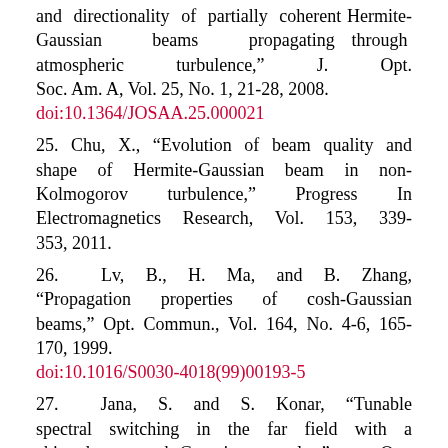and directionality of partially coherent Hermite-Gaussian beams propagating through atmospheric turbulence," J. Opt. Soc. Am. A, Vol. 25, No. 1, 21-28, 2008.
doi:10.1364/JOSAA.25.000021
25. Chu, X., "Evolution of beam quality and shape of Hermite-Gaussian beam in non-Kolmogorov turbulence," Progress In Electromagnetics Research, Vol. 153, 339-353, 2011.
26. Lv, B., H. Ma, and B. Zhang, "Propagation properties of cosh-Gaussian beams," Opt. Commun., Vol. 164, No. 4-6, 165-170, 1999.
doi:10.1016/S0030-4018(99)00193-5
27. Jana, S. and S. Konar, "Tunable spectral switching in the far field with a chirped cosh-Gaussian pulse," Opt. Commun., Vol. 267, No. 1, 24-31, 2006.
doi:10.1016/j.optcom.2006.06.013
28. Konar, S., M. Mishra, and S. Jana, "to be continued..."